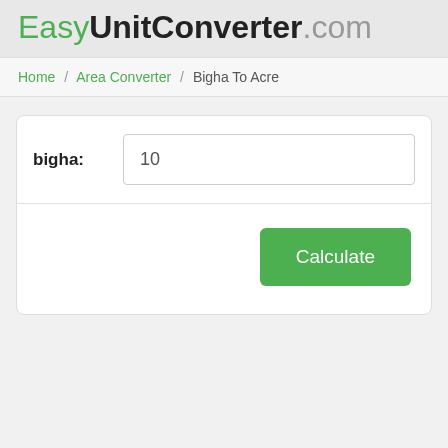EasyUnitConverter.com
Home / Area Converter / Bigha To Acre
bigha: 10
Calculate